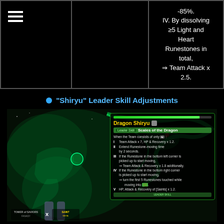-85%.
IV. By dissolving ≥5 Light and Heart Runestones in total,
⇒ Team Attack x 2.5.
"Shiryu" Leader Skill Adjustments
[Figure (screenshot): Game screenshot showing Dragon Shiryu character with 'Scales of the Dragon' leader skill info panel. Skills listed: I. Team Attack x 7, HP & Recovery x 1.2. II. Extend Runestone-moving time by 2 seconds. III. If the Runestone in the bottom left corner is picked up to start moving, ⇒ Team Attack & Recovery x 1.8 additionally. IV. If the Runestone in the bottom right corner is picked up to start moving, ⇒ turn the first 5 Runestones touched while moving into [icon]. V. HP, Attack & Recovery of [Saints] x 1.2.]